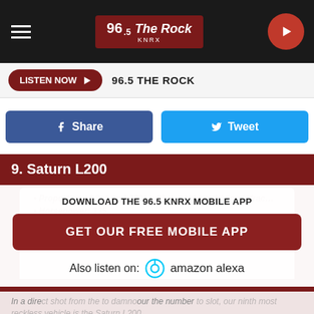96.5 The Rock KNRX
LISTEN NOW ▶  96.5 THE ROCK
Share  Tweet
9. Saturn L200
Proportion of Saturn L200s with a reckless driving infrac…
Horsepower: 135…
Last production year: 2004
DOWNLOAD THE 96.5 KNRX MOBILE APP
GET OUR FREE MOBILE APP
Also listen on:   amazon alexa
In a direct shot from the Saturn to damnour the number to slot, our ninth most reckless vehicle is the Saturn L200.
With the lowest horsepower of the top 10, the L200 serves as a good reminder that it doesn't require a sports car to drive